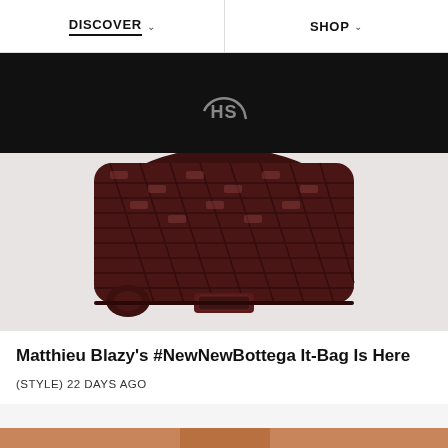DISCOVER   SHOP
[Figure (logo): HS logo in circle on black background banner]
[Figure (photo): Close-up of a dark burgundy woven leather bucket bag with intrecciato weave pattern, showing handles and clasp detail]
Matthieu Blazy's #NewNewBottega It-Bag Is Here
(STYLE) 22 DAYS AGO
[Figure (photo): Partial bottom strip showing warm brown/orange tone — cropped person image]